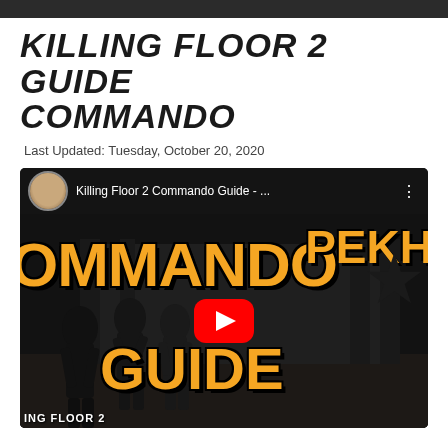KILLING FLOOR 2 GUIDE COMMANDO
Last Updated: Tuesday, October 20, 2020
[Figure (screenshot): YouTube video embed thumbnail for 'Killing Floor 2 Commando Guide - ...' showing game screenshot with orange text overlay reading COMMANDO PERK GUIDE, zombie figures on left, play button in center, and black star decoration on right. KF2 logo in bottom left corner.]